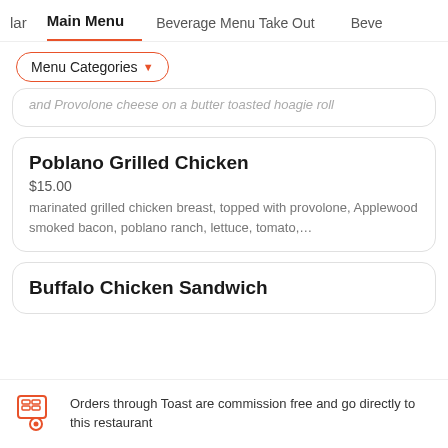lar  Main Menu  Beverage Menu  Take Out  Beve
Menu Categories ▼
and Provolone cheese on a butter toasted hoagie roll
Poblano Grilled Chicken
$15.00
marinated grilled chicken breast, topped with provolone, Applewood smoked bacon, poblano ranch, lettuce, tomato,...
Buffalo Chicken Sandwich
Orders through Toast are commission free and go directly to this restaurant